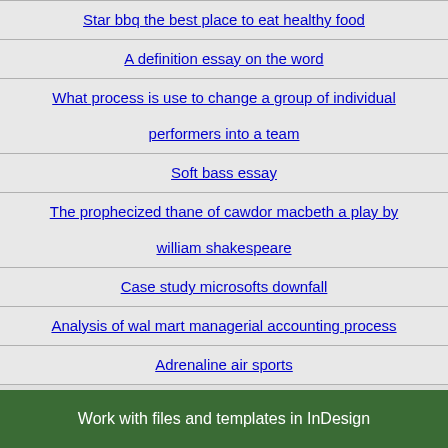Star bbq the best place to eat healthy food
A definition essay on the word
What process is use to change a group of individual performers into a team
Soft bass essay
The prophecized thane of cawdor macbeth a play by william shakespeare
Case study microsofts downfall
Analysis of wal mart managerial accounting process
Adrenaline air sports
Work with files and templates in InDesign